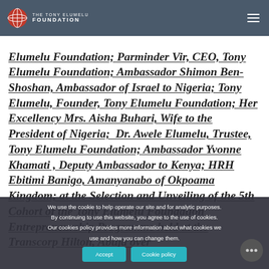The Tony Elumelu Foundation
Elumelu Foundation; Parminder Vir, CEO, Tony Elumelu Foundation; Ambassador Shimon Ben-Shoshan, Ambassador of Israel to Nigeria; Tony Elumelu, Founder, Tony Elumelu Foundation; Her Excellency Mrs. Aisha Buhari, Wife to the President of Nigeria; Dr. Awele Elumelu, Trustee, Tony Elumelu Foundation; Ambassador Yvonne Khamati , Deputy Ambassador to Kenya; HRH Ebitimi Banigo, Amanyanabo of Okpoama Kingdom; at the Selection and Unveiling of the 5th Cohort of the Tony Elumelu Foundation Entrepreneurship Programme held at the Transcorp Hilton, Abuja over...
We use the cookie to help operate our site and for analytic purposes. By continuing to use this website, you agree to the use of cookies. Our cookies policy provides more information about what cookies we use and how you can change them.